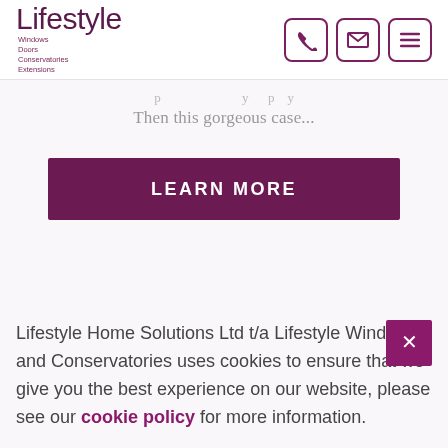Lifestyle Windows Doors Conservatories Extensions
Then this gorgeous case...
LEARN MORE
Lifestyle Home Solutions Ltd t/a Lifestyle Windows and Conservatories uses cookies to ensure that we give you the best experience on our website, please see our cookie policy for more information.